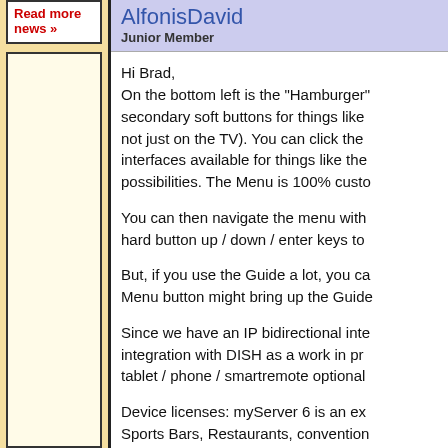Read more news »
AlfonisDavid
Junior Member
Hi Brad,
On the bottom left is the "Hamburger" secondary soft buttons for things like not just on the TV). You can click the interfaces available for things like the possibilities. The Menu is 100% custo

You can then navigate the menu with hard button up / down / enter keys to

But, if you use the Guide a lot, you ca Menu button might bring up the Guide

Since we have an IP bidirectional inte integration with DISH as a work in pr tablet / phone / smartremote optional

Device licenses: myServer 6 is an ex Sports Bars, Restaurants, convention Lights, AVMatrix outputs, TVs, User i in bulk. Basically, the larger the syste inexpensive, large systems are less e

myServer 6 supports all of the conne powerline, WiFi, bluetooth, RF, ZWav SmartRemote...most of the really har snanding...